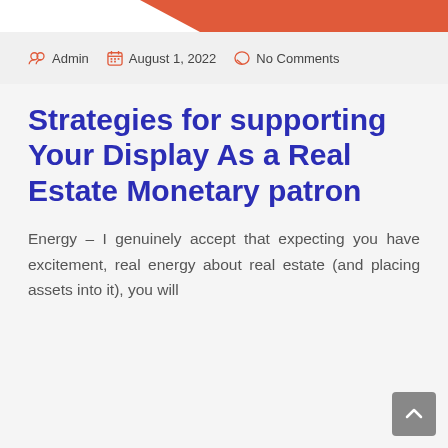[Figure (illustration): Red/orange diagonal decorative banner in top right corner of page header]
Admin   August 1, 2022   No Comments
Strategies for supporting Your Display As a Real Estate Monetary patron
Energy – I genuinely accept that expecting you have excitement, real energy about real estate (and placing assets into it), you will